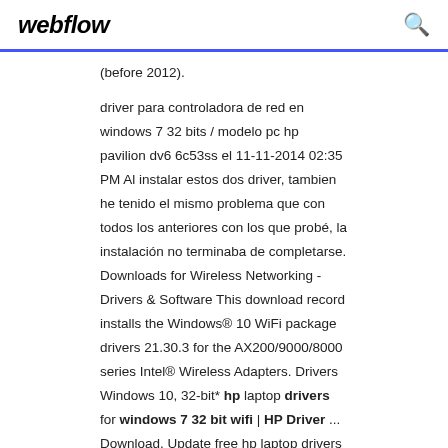webflow
(before 2012).
driver para controladora de red en windows 7 32 bits / modelo pc hp pavilion dv6 6c53ss el 11-11-2014 02:35 PM Al instalar estos dos driver, tambien he tenido el mismo problema que con todos los anteriores con los que probé, la instalación no terminaba de completarse. Downloads for Wireless Networking - Drivers & Software This download record installs the Windows® 10 WiFi package drivers 21.30.3 for the AX200/9000/8000 series Intel® Wireless Adapters. Drivers Windows 10, 32-bit* hp laptop drivers for windows 7 32 bit wifi | HP Driver ... Download, Update free hp laptop drivers for